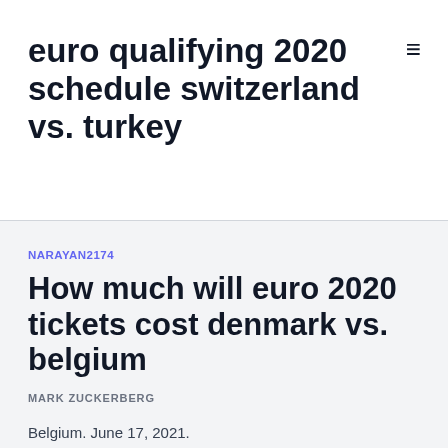euro qualifying 2020 schedule switzerland vs. turkey
NARAYAN2174
How much will euro 2020 tickets cost denmark vs. belgium
MARK ZUCKERBERG
Belgium. June 17, 2021.